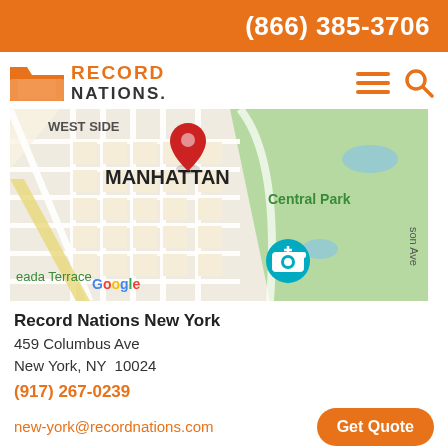(866) 385-3706
[Figure (logo): Record Nations logo with orange folder icon and orange/dark text]
[Figure (map): Google Maps showing Manhattan area with Central Park visible, red map pin marker, and a camera Street View icon. Shows 'WEST SIDE', 'MANHATTAN', 'Central Park', 'eada Terrace', 'Google', 'son Ave' labels.]
Record Nations New York
459 Columbus Ave
New York, NY  10024
(917) 267-0239
new-york@recordnations.com